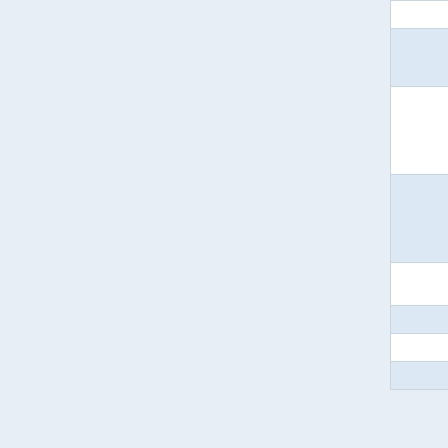| Date | Description |
| --- | --- |
| 30 Jul 2003: | Added $TR... |
| 19 Jul 2003: | Added $FI... $SEARCH... TWiki:Main... |
| 19 Apr 2003: | Added $CO... $ROUND(... contributed... % modulus... $ROUND(... |
| 07 Jun 2002: | Added $DI... TWiki:Main... HTML form... by TWiki:M... SKIPINCL... |
| 12 Mar 2002: | Support fo... level |
| 15 Jan 2002: | Added $CI... |
| 12 Nov 2001: | Added $RI... |
| 12 Aug 2001: | Fixed bug... |